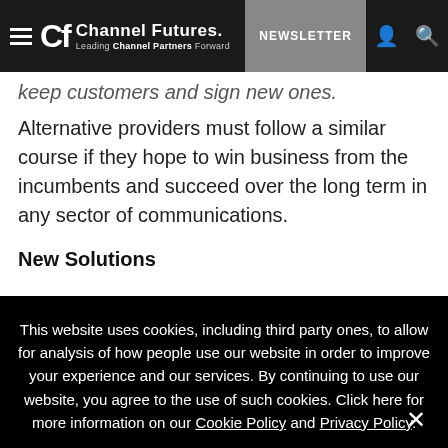Channel Futures — Leading Channel Partners Forward | NEWSLETTER
keep customers and sign new ones.
Alternative providers must follow a similar course if they hope to win business from the incumbents and succeed over the long term in any sector of communications.
New Solutions
This website uses cookies, including third party ones, to allow for analysis of how people use our website in order to improve your experience and our services. By continuing to use our website, you agree to the use of such cookies. Click here for more information on our Cookie Policy and Privacy Policy.